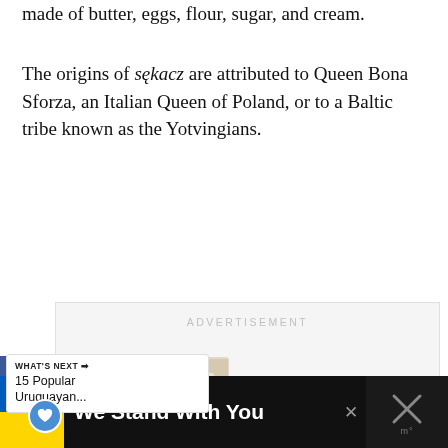made of butter, eggs, flour, sugar, and cream.
The origins of sękacz are attributed to Queen Bona Sforza, an Italian Queen of Poland, or to a Baltic tribe known as the Yotvingians.
[Figure (other): Advertisement placeholder box with social media sidebar icons (Facebook, Twitter, Pinterest, Share) and a 'What's Next' content recommendation widget showing '15 Popular Uruguayan...' with a food image thumbnail and navigation dots]
[Figure (other): Bottom banner advertisement: Ukrainian flag on left, text 'We Stand With You', close button X, and a right-side dark panel with crossed symbol]